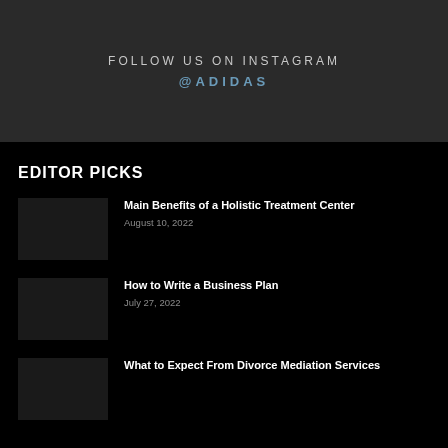FOLLOW US ON INSTAGRAM
@ADIDAS
EDITOR PICKS
Main Benefits of a Holistic Treatment Center
August 10, 2022
How to Write a Business Plan
July 27, 2022
What to Expect From Divorce Mediation Services